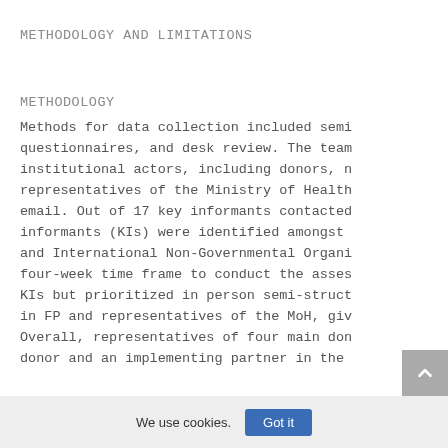METHODOLOGY AND LIMITATIONS
METHODOLOGY
Methods for data collection included semi questionnaires, and desk review. The team institutional actors, including donors, n representatives of the Ministry of Health email. Out of 17 key informants contacted informants (KIs) were identified amongst and International Non-Governmental Organi four-week time frame to conduct the asses KIs but prioritized in person semi-struct in FP and representatives of the MoH, giv Overall, representatives of four main don donor and an implementing partner in the
We use cookies. Got it